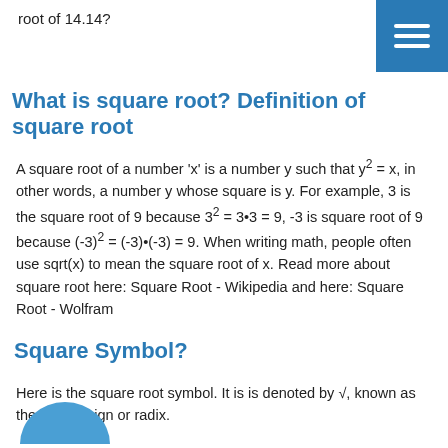root of 14.14?
[Figure (other): Blue square menu button with three white horizontal lines (hamburger menu icon) in top-right corner]
What is square root? Definition of square root
A square root of a number 'x' is a number y such that y² = x, in other words, a number y whose square is y. For example, 3 is the square root of 9 because 3² = 3•3 = 9, -3 is square root of 9 because (-3)² = (-3)•(-3) = 9. When writing math, people often use sqrt(x) to mean the square root of x. Read more about square root here: Square Root - Wikipedia and here: Square Root - Wolfram
Square Symbol?
Here is the square root symbol. It is is denoted by √, known as the radical sign or radix.
[Figure (illustration): Partial blue circle illustration at the bottom of the page]